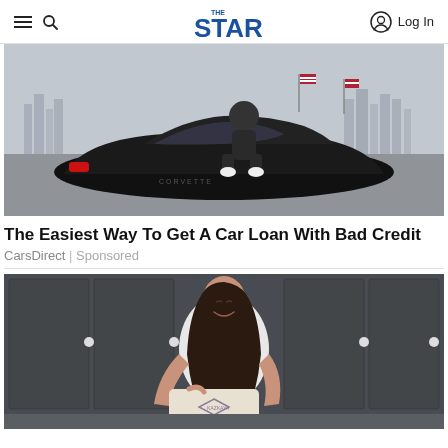THE STAR — navigation header with hamburger menu, search icon, logo, and Log In button
[Figure (photo): Person sitting on a black Corvette sports car in a parking area with city skyline and American flags in background]
The Easiest Way To Get A Car Loan With Bad Credit
CarsDirect | Sponsored
[Figure (photo): Smiling woman with long dark hair pouring from a bag/container in a kitchen setting, with a branded KAZKAYA bag visible]